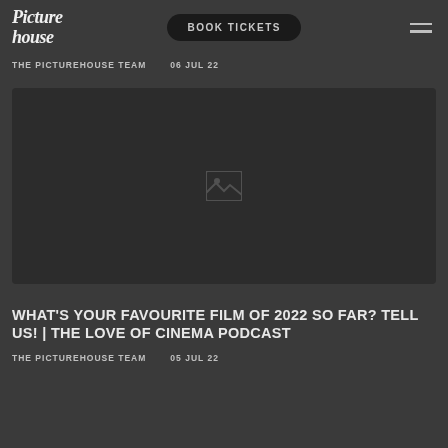[Figure (logo): Picturehouse logo in italic script text]
BOOK TICKETS
THE PICTUREHOUSE TEAM    06 JUL 22
[Figure (photo): Dark image placeholder with broken image icon]
WHAT'S YOUR FAVOURITE FILM OF 2022 SO FAR? TELL US! | THE LOVE OF CINEMA PODCAST
THE PICTUREHOUSE TEAM    05 JUL 22